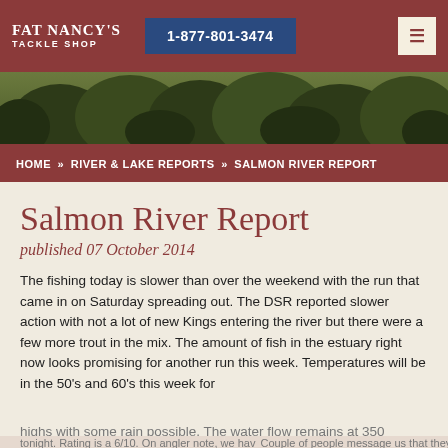FAT NANCY'S TACKLE SHOP | 1-877-801-3474
[Figure (photo): Dark green tree canopy background image used as hero banner]
HOME » RIVER & LAKE REPORTS » SALMON RIVER REPORT
Salmon River Report
published 07 October 2014
The fishing today is slower than over the weekend with the run that came in on Saturday spreading out. The DSR reported slower action with not a lot of new Kings entering the river but there were a few more trout in the mix. The amount of fish in the estuary right now looks promising for another run this week. Temperatures will be in the 50's and 60's this week for highs with some rain possible. The water flow remains at 350 tonight. Rating is a 6/10. On angler note, we have a Couple of people message us that they fished yesterday and
ALL PRODUCTS | [weather icon] | [location icon] | (0)